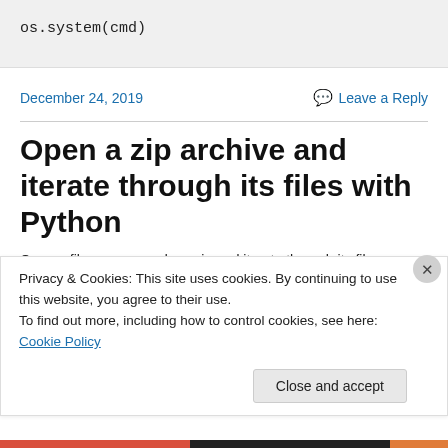os.system(cmd)
December 24, 2019
Leave a Reply
Open a zip archive and iterate through its files with Python
Open a file compressed as .zip and iterate through its files
Privacy & Cookies: This site uses cookies. By continuing to use this website, you agree to their use.
To find out more, including how to control cookies, see here: Cookie Policy
Close and accept